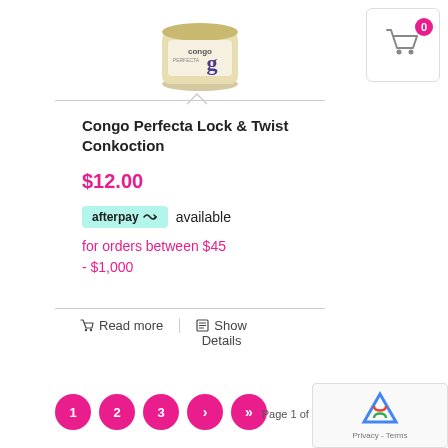[Figure (photo): Product jar of Congo Perfecta Lock & Twist Conkoction with gold lid and purple label]
Congo Perfecta Lock & Twist Conkoction
$12.00
afterpay available for orders between $45 - $1,000
Read more
Show Details
1 2 3 › »
Page 1 of 7